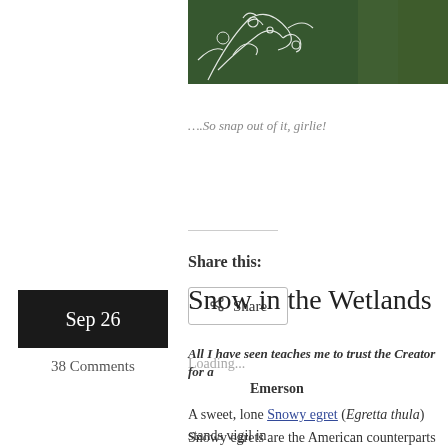[Figure (photo): Dark green nature photo with white decorative floral/branch overlay, partially visible at top of page]
….So snap out of it, girlie!
Share this:
Share
Loading...
Sep 26
38 Comments
Snow in the Wetlands
All I have seen teaches me to trust the Creator for a Emerson
A sweet, lone Snowy egret (Egretta thula) stands vigil in
Snowy egrets are the American counterparts to the very s